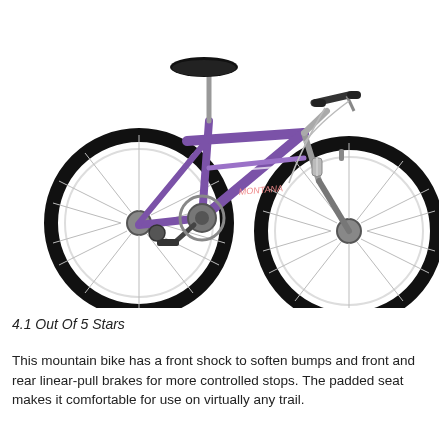[Figure (photo): A purple women's mountain bike with front shock, white spokes, black tires, black seat, and handlebar grips, shown on a white background. The bike has linear-pull brakes front and rear, a step-through frame, and derailleur gearing.]
4.1 Out Of 5 Stars
This mountain bike has a front shock to soften bumps and front and rear linear-pull brakes for more controlled stops. The padded seat makes it comfortable for use on virtually any trail.